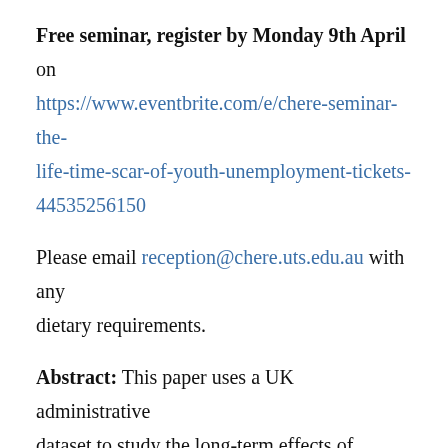Free seminar, register by Monday 9th April on https://www.eventbrite.com/e/chere-seminar-the-life-time-scar-of-youth-unemployment-tickets-44535256150
Please email reception@chere.uts.edu.au with any dietary requirements.
Abstract: This paper uses a UK administrative dataset to study the long-term effects of unemployment on earnings. We find that unemployment shocks affect young workers for the rest of their lives. This scar of youth unemployment is concentrated in the first few